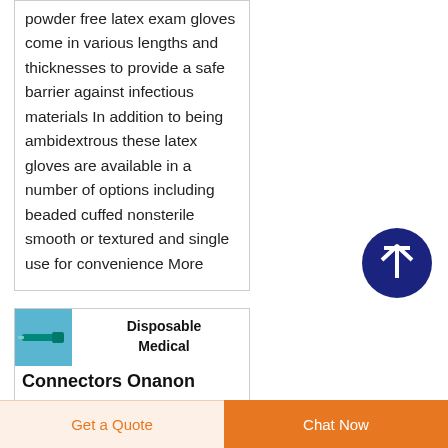powder free latex exam gloves come in various lengths and thicknesses to provide a safe barrier against infectious materials In addition to being ambidextrous these latex gloves are available in a number of options including beaded cuffed nonsterile smooth or textured and single use for convenience More
[Figure (other): Dark navy circular scroll-to-top button with upward arrow icon]
[Figure (photo): Small thumbnail image of a disposable medical connector on blue background]
Disposable Medical Connectors Onanon
Connectors Disposable Medical...